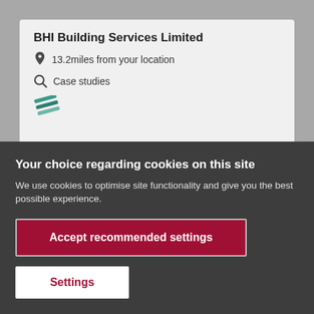BHI Building Services Limited
13.2miles from your location
Case studies
[Figure (logo): Teal/green diagonal line logo icon]
Your choice regarding cookies on this site
We use cookies to optimise site functionality and give you the best possible experience.
Accept recommended settings
Settings